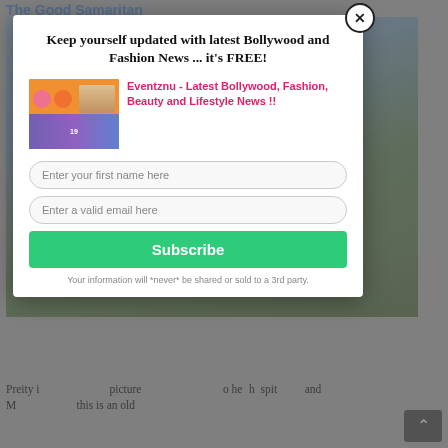The Good Samaritan
[Figure (photo): Background photo of a person, blurred, used as backdrop for modal overlay]
Keep yourself updated with latest Bollywood and Fashion News ... it's FREE!
[Figure (illustration): Promo image collage showing nail polish hands and a woman with sunglasses, alongside colorful books/magazines]
Eventznu - Latest Bollywood, Fashion, Beauty and Lifestyle News !!
Enter your first name here
Enter a valid email here
Subscribe
Your information will *never* be shared or sold to a 3rd party.
Preity i picture o he hostital for and Maybe one for this is an old